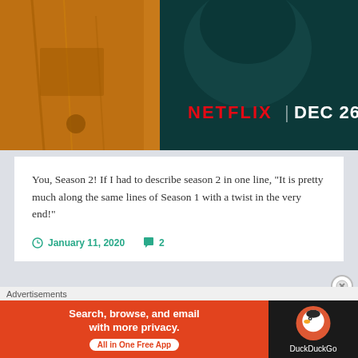[Figure (photo): Netflix promotional banner showing dark toned image with person in denim jacket on left side and a dark figure on right, with red 'NETFLIX | DEC 26' text overlay]
You, Season 2! If I had to describe season 2 in one line, "It is pretty much along the same lines of Season 1 with a twist in the very end!"
January 11, 2020   2
The Order (Series): A
Advertisements
[Figure (other): DuckDuckGo advertisement banner: orange left side with text 'Search, browse, and email with more privacy. All in One Free App' and dark right side with DuckDuckGo logo]